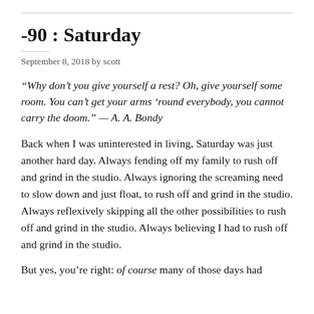-90 : Saturday
September 8, 2018 by scott
“Why don’t you give yourself a rest? Oh, give yourself some room. You can’t get your arms ‘round everybody, you cannot carry the doom.” — A. A. Bondy
Back when I was uninterested in living, Saturday was just another hard day. Always fending off my family to rush off and grind in the studio. Always ignoring the screaming need to slow down and just float, to rush off and grind in the studio. Always reflexively skipping all the other possibilities to rush off and grind in the studio. Always believing I had to rush off and grind in the studio.
But yes, you’re right: of course many of those days had